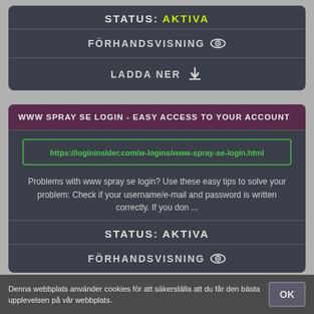STATUS: AKTIVA
FÖRHANDSVISNING 👁
LADDA NER ⬇
WWW SPRAY SE LOGIN - EASY ACCESS TO YOUR ACCOUNT
https://logininsider.com/w-logins/www-spray-se-login.html
Problems with www spray se login? Use these easy tips to solve your problem: Check if your username/e-mail and password is written correctly. If you don ...
STATUS: AKTIVA
FÖRHANDSVISNING 👁
Denna webbplats använder cookies för att säkerställa att du får den bästa upplevelsen på vår webbplats.